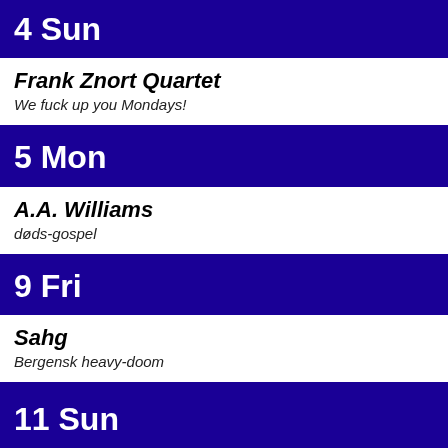4 Sun
Frank Znort Quartet
We fuck up you Mondays!
5 Mon
A.A. Williams
døds-gospel
9 Fri
Sahg
Bergensk heavy-doom
11 Sun